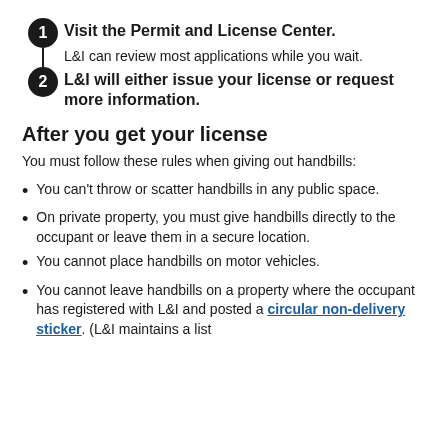Visit the Permit and License Center. L&I can review most applications while you wait.
L&I will either issue your license or request more information.
After you get your license
You must follow these rules when giving out handbills:
You can't throw or scatter handbills in any public space.
On private property, you must give handbills directly to the occupant or leave them in a secure location.
You cannot place handbills on motor vehicles.
You cannot leave handbills on a property where the occupant has registered with L&I and posted a circular non-delivery sticker. (L&I maintains a list